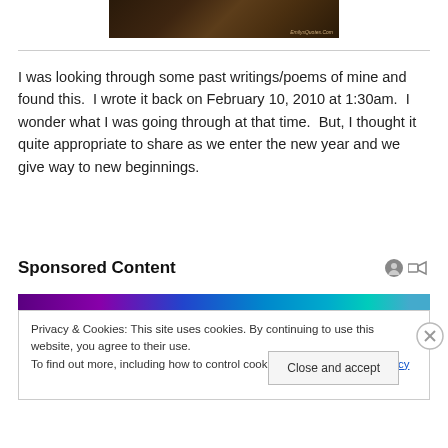[Figure (photo): Dark brownish image with EmilysQuotes.Com watermark in bottom right]
I was looking through some past writings/poems of mine and found this.  I wrote it back on February 10, 2010 at 1:30am.  I wonder what I was going through at that time.  But, I thought it quite appropriate to share as we enter the new year and we give way to new beginnings.
Sponsored Content
[Figure (photo): Colorful purple and teal banner advertisement strip]
Privacy & Cookies: This site uses cookies. By continuing to use this website, you agree to their use.
To find out more, including how to control cookies, see here: Cookie Policy